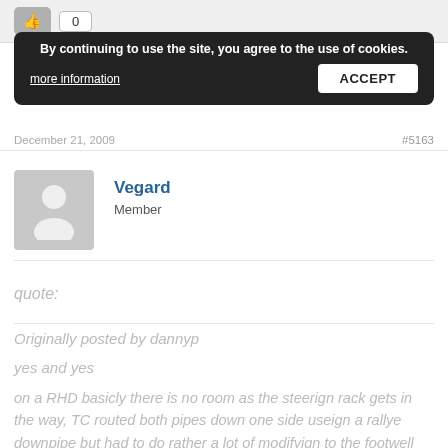[Figure (screenshot): Like button with thumbs up icon and vote count showing 0]
By continuing to use the site, you agree to the use of cookies. more information ACCEPT
December 21, 2009  #5163
Vegard
Member
quote:
Originally posted by dannyp

yes and yes

on a RHD basicly there is no room as the steerign rack gets in the way, TC routed both pipes down one side useign a rallye downpipe but had to do rather a lot of modifyign to the footwell and the downpipe to